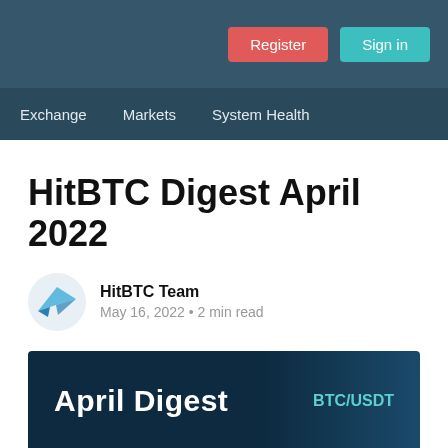Register  Sign in
Exchange  Markets  System Health
HitBTC Digest April 2022
HitBTC Team
May 16, 2022 • 2 min read
[Figure (illustration): April Digest banner with dark blue gradient background, text 'April Digest' on left and 'BTC/USDT' in teal on right]